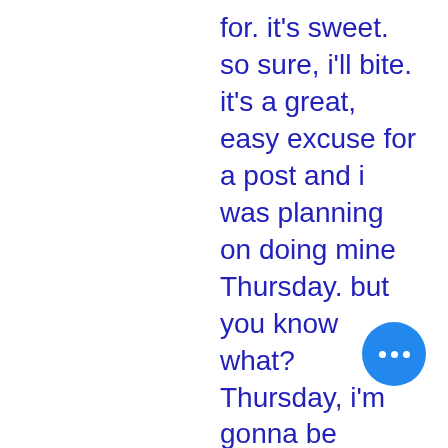for. it's sweet. so sure, i'll bite. it's a great, easy excuse for a post and i was planning on doing mine Thursday. but you know what? Thursday, i'm gonna be elbow-deep in a turkey, fixin' fixins, tossin' back some Kendall Jackson with Mom, watching football and finally witnessing the Macy's Great Tree Lighting in person. ain't nobody got time for blog posts on Thursday, y'all. so since i'm sitting at an airport waiting on a delayed flight back to Atlanta and need to write a post for today anyway (since i skipped yesterday due to Game Girl wedding activities — some totally sacred i decided to go for it today. these kind of random, certainly incomplete